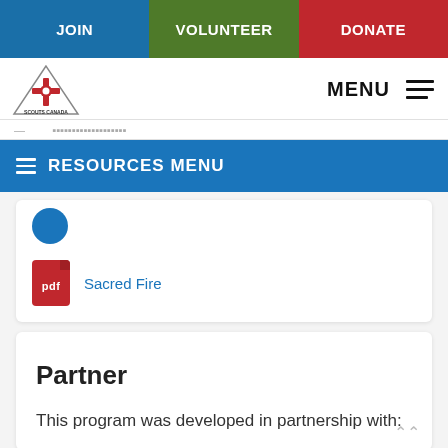JOIN | VOLUNTEER | DONATE
[Figure (logo): Scouts Canada logo — triangular badge with fleur-de-lis]
MENU
— [breadcrumb navigation, partially visible]
≡  RESOURCES MENU
[Figure (illustration): Blue circle icon]
Sacred Fire
Partner
This program was developed in partnership with: